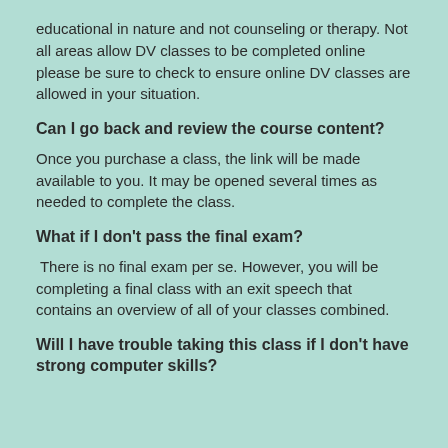educational in nature and not counseling or therapy. Not all areas allow DV classes to be completed online please be sure to check to ensure online DV classes are allowed in your situation.
Can I go back and review the course content?
Once you purchase a class, the link will be made available to you. It may be opened several times as needed to complete the class.
What if I don't pass the final exam?
There is no final exam per se. However, you will be completing a final class with an exit speech that contains an overview of all of your classes combined.
Will I have trouble taking this class if I don't have strong computer skills?